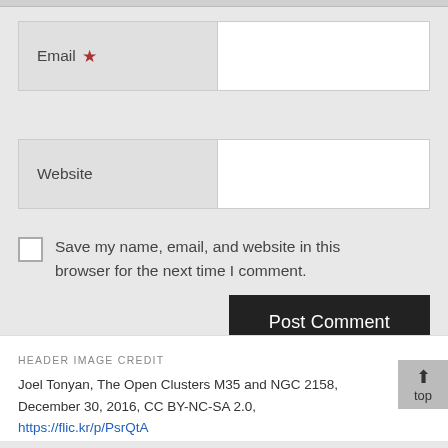[Figure (screenshot): Web form fields for Email and Website input, with a checkbox labeled 'Save my name, email, and website in this browser for the next time I comment.' and a 'Post Comment' button]
HEADER IMAGE CREDIT
Joel Tonyan, The Open Clusters M35 and NGC 2158, December 30, 2016, CC BY-NC-SA 2.0, https://flic.kr/p/PsrQtA